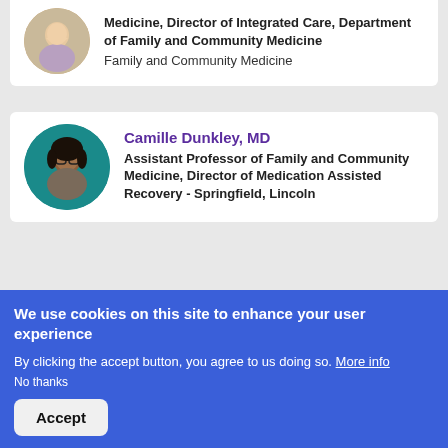[Figure (photo): Circular portrait photo of a woman with light skin, smiling, wearing a purple/lilac top]
Medicine, Director of Integrated Care, Department of Family and Community Medicine
Family and Community Medicine
[Figure (photo): Circular portrait photo of Camille Dunkley, a Black woman with glasses, smiling, wearing a striped top, with teal background]
Camille Dunkley, MD
Assistant Professor of Family and Community Medicine, Director of Medication Assisted Recovery - Springfield, Lincoln
We use cookies on this site to enhance your user experience
By clicking the accept button, you agree to us doing so. More info
No thanks
Accept